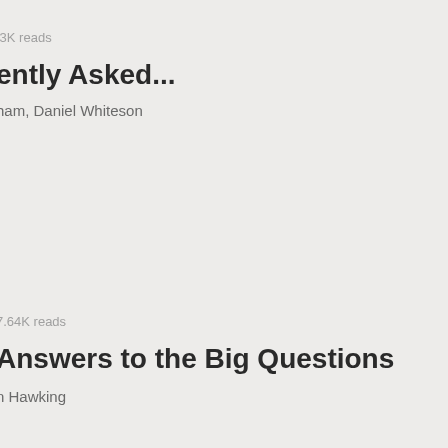.3K reads
ently Asked...
ham, Daniel Whiteson
7.64K reads
Answers to the Big Questions
n Hawking